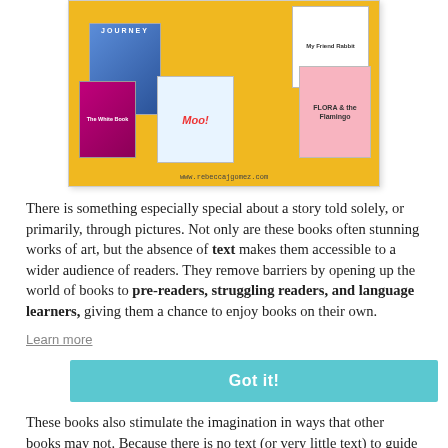[Figure (illustration): A collage of picture book covers on a yellow background, including Journey, My Friend Rabbit, The White Book, Moo!, and Flora and the Flamingo. URL www.rebeccajgomez.com shown at bottom.]
There is something especially special about a story told solely, or primarily, through pictures. Not only are these books often stunning works of art, but the absence of text makes them accessible to a wider audience of readers. They remove barriers by opening up the world of books to pre-readers, struggling readers, and language learners, giving them a chance to enjoy books on their own.
These books also stimulate the imagination in ways that other books may not. Because there is no text (or very little text) to guide them along, readers must interpret the images